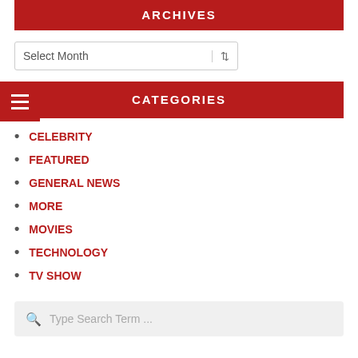ARCHIVES
Select Month
CATEGORIES
CELEBRITY
FEATURED
GENERAL NEWS
MORE
MOVIES
TECHNOLOGY
TV SHOW
Type Search Term ...